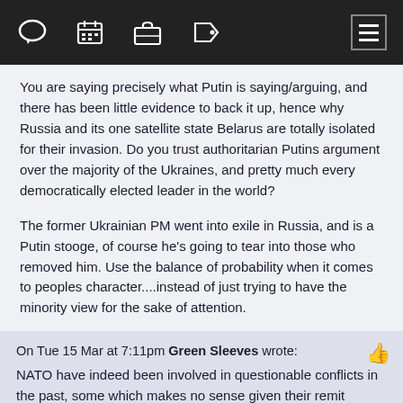[navigation bar with icons: comment, calendar, briefcase, tag, menu]
You are saying precisely what Putin is saying/arguing, and there has been little evidence to back it up, hence why Russia and its one satellite state Belarus are totally isolated for their invasion. Do you trust authoritarian Putins argument over the majority of the Ukraines, and pretty much every democratically elected leader in the world?
The former Ukrainian PM went into exile in Russia, and is a Putin stooge, of course he's going to tear into those who removed him. Use the balance of probability when it comes to peoples character....instead of just trying to have the minority view for the sake of attention.
On Tue 15 Mar at 7:11pm Green Sleeves wrote:
NATO have indeed been involved in questionable conflicts in the past, some which makes no sense given their remit should